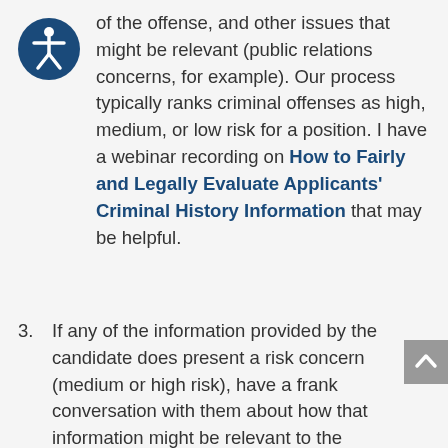[Figure (illustration): Accessibility icon: dark blue circle with white stylized human figure (wheelchair/accessibility symbol)]
of the offense, and other issues that might be relevant (public relations concerns, for example). Our process typically ranks criminal offenses as high, medium, or low risk for a position. I have a webinar recording on How to Fairly and Legally Evaluate Applicants' Criminal History Information that may be helpful.
3. If any of the information provided by the candidate does present a risk concern (medium or high risk), have a frank conversation with them about how that information might be relevant to the position. If they provide any additional